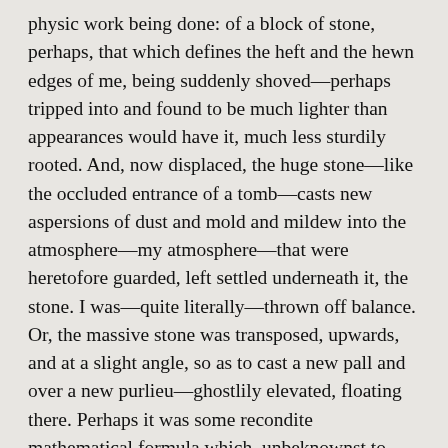physic work being done: of a block of stone, perhaps, that which defines the heft and the hewn edges of me, being suddenly shoved—perhaps tripped into and found to be much lighter than appearances would have it, much less sturdily rooted. And, now displaced, the huge stone—like the occluded entrance of a tomb—casts new aspersions of dust and mold and mildew into the atmosphere—my atmosphere—that were heretofore guarded, left settled underneath it, the stone. I was—quite literally—thrown off balance. Or, the massive stone was transposed, upwards, and at a slight angle, so as to cast a new pall and over a new purlieu—ghostlily elevated, floating there. Perhaps it was some recondite mathematical formula which, unbeknownst to anyone yet, and yet in perfect keeping with the rules of general relativity, had had its anagogic solution reworked and retabulated; and,